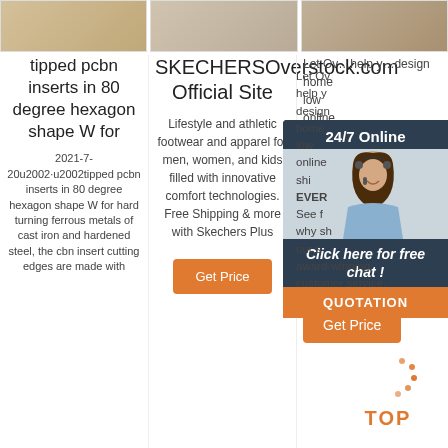[Figure (photo): Three product/lifestyle photos in a horizontal strip at the top]
tipped pcbn inserts in 80 degree hexagon shape W for
2021-7-20u2002·u2002tipped pcbn inserts in 80 degree hexagon shape W for hard turning ferrous metals of cast iron and hardened steel, the cbn insert cutting edges are made with
SKECHERSOverstock.com Official Site
Lifestyle and athletic footwear and apparel for men, women, and kids filled with innovative comfort technologies. Free Shipping & more with Skechers Plus
Get Price
Let Overstock.com help you design your home with low online prices, shipping EVERY day. See for yourself why shoppers love our selection and award-winning customer service.
[Figure (infographic): 24/7 Online chat widget with woman photo and Click here for free chat button]
Get Price
TOP